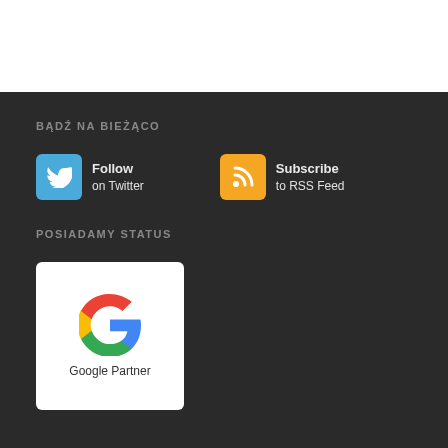BĄDŹ NA BIEŻĄCO
[Figure (logo): Twitter Follow button with blue bird icon and text 'Follow on Twitter']
[Figure (logo): RSS Subscribe button with orange RSS icon and text 'Subscribe to RSS Feed']
POSIADAMY STATUS
[Figure (logo): Google Partner badge with Google G logo on white card, text 'Google Partner']